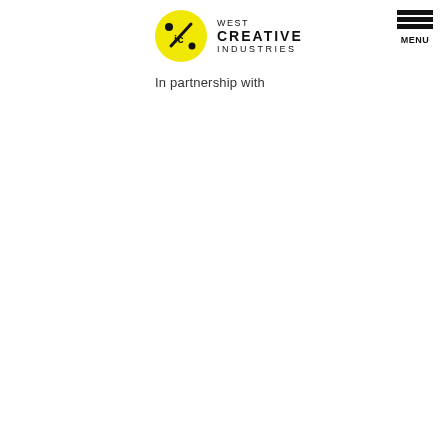[Figure (logo): West Creative Industries logo: yellow circle with black slash and 'ic' text, beside stacked text 'WEST / CREATIVE / INDUSTRIES']
[Figure (other): Hamburger menu icon with three horizontal black bars and 'MENU' label below]
In partnership with